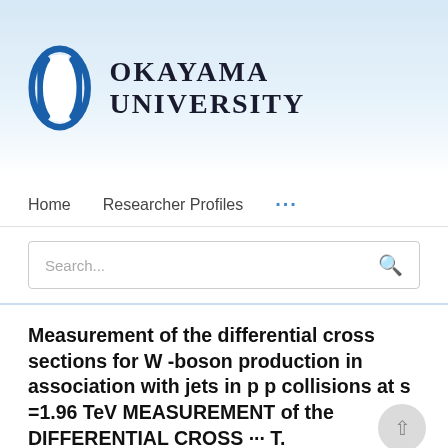[Figure (logo): Okayama University logo: blue oval/pill shaped icon with white vertical bar in center, followed by text OKAYAMA UNIVERSITY in serif bold capitals]
Home   Researcher Profiles   ...
Search...
Measurement of the differential cross sections for W -boson production in association with jets in p p collisions at s =1.96 TeV MEASUREMENT of the DIFFERENTIAL CROSS ··· T.